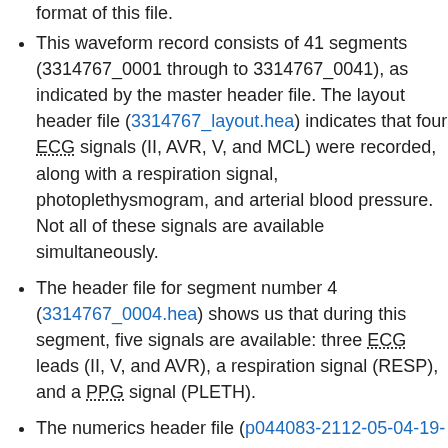format of this file.
This waveform record consists of 41 segments (3314767_0001 through to 3314767_0041), as indicated by the master header file. The layout header file (3314767_layout.hea) indicates that four ECG signals (II, AVR, V, and MCL) were recorded, along with a respiration signal, photoplethysmogram, and arterial blood pressure. Not all of these signals are available simultaneously.
The header file for segment number 4 (3314767_0004.hea) shows us that during this segment, five signals are available: three ECG leads (II, V, and AVR), a respiration signal (RESP), and a PPG signal (PLETH).
The numerics header file (p044083-2112-05-04-19-50n.hea) shows us that a variety of measurements were recorded, including heart rate, invasive and non-invasive blood pressure, respiratory rate, ST segment elevation, oxygen saturation, and cardiac